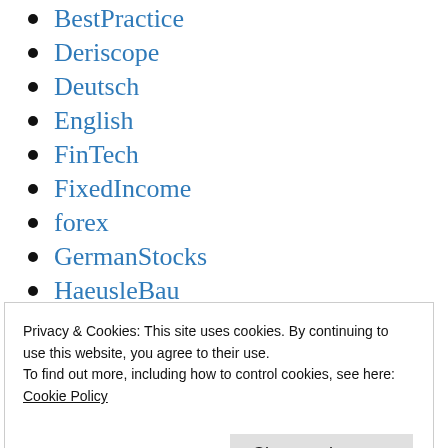BestPractice
Deriscope
Deutsch
English
FinTech
FixedIncome
forex
GermanStocks
HaeusleBau
Insurance
JuniorDepot
Privacy & Cookies: This site uses cookies. By continuing to use this website, you agree to their use.
To find out more, including how to control cookies, see here:
Cookie Policy
...